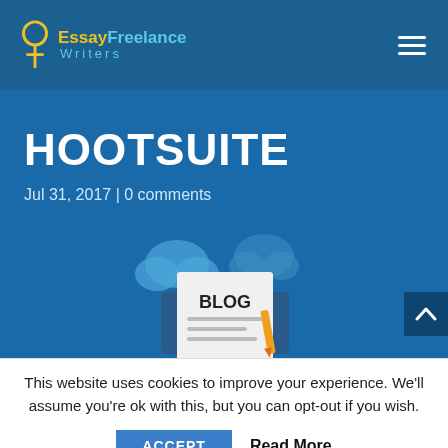EssayFreelance Writers
HOOTSUITE
Jul 31, 2017 | 0 comments
[Figure (illustration): Blog illustration showing a document with 'BLOG' text on a tablet/screen with clouds and pencil graphic in blue tones]
This website uses cookies to improve your experience. We'll assume you're ok with this, but you can opt-out if you wish.
ACCEPT  Read More